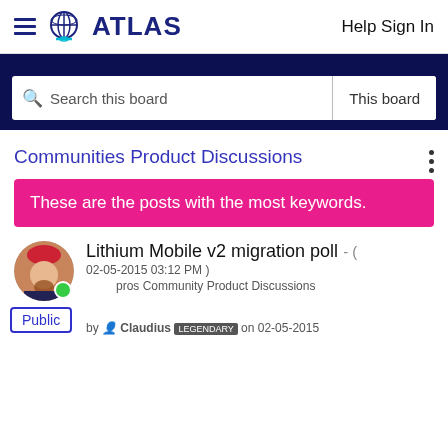ATLAS  Help Sign In
Search this board   This board
Communities Product Discussions
These are the posts with the most keywords.
Lithium Mobile v2 migration poll - ( 02-05-2015 03:12 PM ) pros Community Product Discussions by Claudius LEGENDARY on 02-05-2015